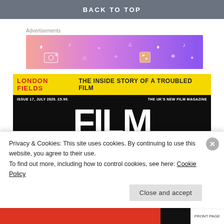BACK TO TOP
Advertisements
[Figure (illustration): Colorful advertisement banner with gradient from pink/red to purple, decorated with small white icons (music notes, diamonds, stars, camera, etc.)]
[Figure (screenshot): Film Stories magazine cover Issue 17, July 2020, £5.99. Yellow bar at top reads 'LONDON FIELDS THE INSIDE STORY OF A TROUBLED FILM'. Black background with large white text 'FILM STORIES'. Subtitle 'THE UK'S NEW FILM MAGAZINE'. A person's head (hair visible) appears in the lower center.]
Privacy & Cookies: This site uses cookies. By continuing to use this website, you agree to their use.
To find out more, including how to control cookies, see here: Cookie Policy
Close and accept